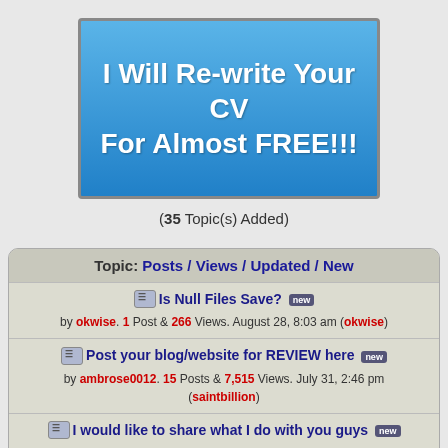[Figure (other): Blue gradient banner with white bold text reading 'I Will Re-write Your CV For Almost FREE!!!']
(35 Topic(s) Added)
Topic: Posts / Views / Updated / New
Is Null Files Save? [new] — by okwise. 1 Post & 266 Views. August 28, 8:03 am (okwise)
Post your blog/website for REVIEW here [new] — by ambrose0012. 15 Posts & 7,515 Views. July 31, 2:46 pm (saintbillion)
I would like to share what I do with you guys [new] — by Dorcmass. 6 Posts & 340 Views. June 6, 7:11 pm (Victor1987)